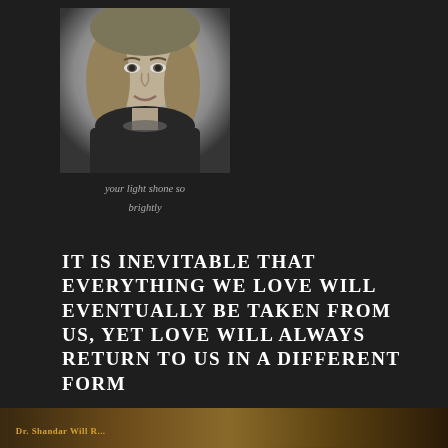[Figure (photo): Black and white portrait photo of a young woman with blonde wavy hair, wearing a dark top and necklace, smiling slightly]
your light shone so brightly
IT IS INEVITABLE THAT EVERYTHING WE LOVE WILL EVENTUALLY BE TAKEN FROM US, YET LOVE WILL ALWAYS RETURN TO US IN A DIFFERENT FORM
[Figure (photo): Partial view of a book cover with gold/amber tones, text partially visible at bottom of page]